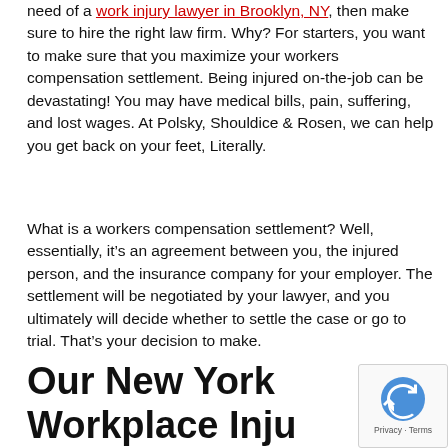need of a work injury lawyer in Brooklyn, NY, then make sure to hire the right law firm. Why? For starters, you want to make sure that you maximize your workers compensation settlement. Being injured on-the-job can be devastating! You may have medical bills, pain, suffering, and lost wages. At Polsky, Shouldice & Rosen, we can help you get back on your feet, Literally.
What is a workers compensation settlement? Well, essentially, it’s an agreement between you, the injured person, and the insurance company for your employer. The settlement will be negotiated by your lawyer, and you ultimately will decide whether to settle the case or go to trial. That’s your decision to make.
Our New York Workplace Injury Lawyers Have Unmatched